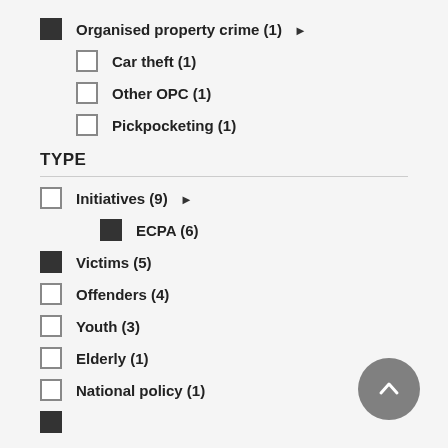Organised property crime (1) ▶
Car theft (1)
Other OPC (1)
Pickpocketing (1)
TYPE
Initiatives (9) ▶
ECPA (6)
Victims (5)
Offenders (4)
Youth (3)
Elderly (1)
National policy (1)
Something (1)